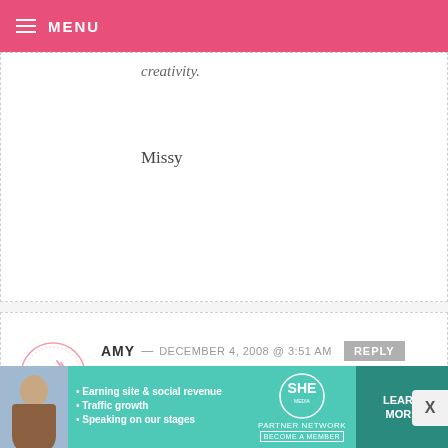MENU
creativity.
Missy
AMY — DECEMBER 4, 2008 @ 3:51 AM
You know, I would never have said classy, but your version of classy is so funky and fun. I have to go with classy :-). Thanks for sharing the goodies!!!
[Figure (other): SHE Partner Network advertisement banner with photo of woman, bullets about earning site & social revenue, traffic growth, speaking on our stages, and a Learn More button]